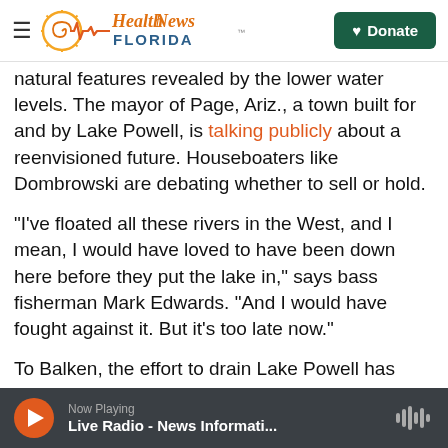Health News Florida — Donate
natural features revealed by the lower water levels. The mayor of Page, Ariz., a town built for and by Lake Powell, is talking publicly about a reenvisioned future. Houseboaters like Dombrowski are debating whether to sell or hold.
"I've floated all these rivers in the West, and I mean, I would have loved to have been down here before they put the lake in," says bass fisherman Mark Edwards. "And I would have fought against it. But it's too late now."
To Balken, the effort to drain Lake Powell has often felt like "Don Quixote, tilting at windmills," he says
Now Playing — Live Radio - News Informati...